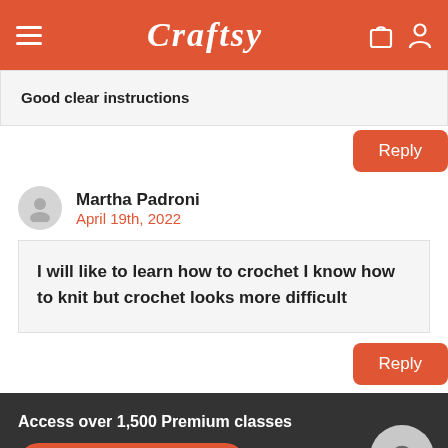Craftsy
Good clear instructions
Reply
Martha Padroni
April 19th, 2022
I will like to learn how to crochet I know how to knit but crochet looks more difficult
Reply
Access over 1,500 Premium classes
BECOME A MEMBER